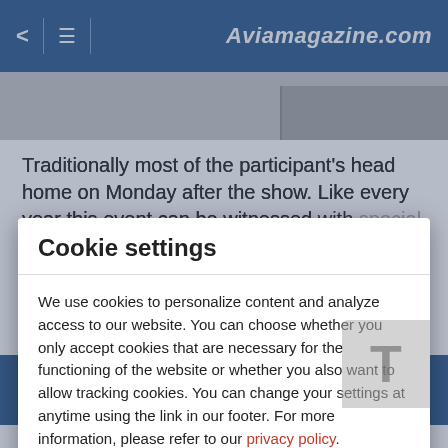< ≡ | Aviamagazine.com
[Figure (screenshot): Gray image strip at top of article page]
Traditionally most of the participant's head home on Monday after the show. Like every year this event can be witnessed with special tickets on two sides of the runway.
Cookie settings
We use cookies to personalize content and analyze access to our website. You can choose whether you only accept cookies that are necessary for the functioning of the website or whether you also want to allow tracking cookies. You can change your settings at anytime using the link in our footer. For more information, please refer to our privacy policy.
Cookie settings
Accept all cookies
was blessed with beautiful weather. Over 300 aircraft on